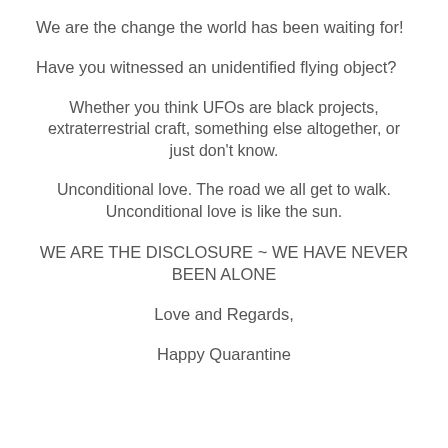We are the change the world has been waiting for!
Have you witnessed an unidentified flying object?
Whether you think UFOs are black projects, extraterrestrial craft, something else altogether, or just don't know.
Unconditional love. The road we all get to walk. Unconditional love is like the sun.
WE ARE THE DISCLOSURE ~ WE HAVE NEVER BEEN ALONE
Love and Regards,
Happy Quarantine